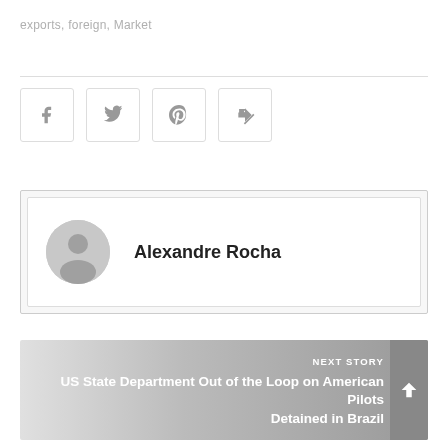exports,  foreign, Market
[Figure (other): Social share buttons: Facebook (f), Twitter (bird), Pinterest (p), Share (arrow)]
Alexandre Rocha
NEXT STORY
US State Department Out of the Loop on American Pilots Detained in Brazil